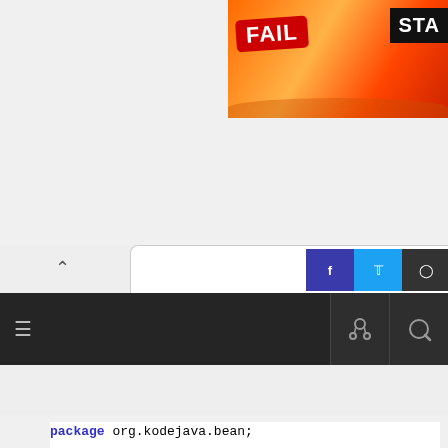[Figure (screenshot): Ad banner with FAIL text and animated character on orange/fire background, with STA text on dark background]
[Figure (screenshot): Website navigation bar with caret, social icons (Facebook, Twitter, GitHub), dark menu bar with hamburger icon and search/share icons]
package org.kodejava.bean;

import java.beans.VetoableChangeListener;
import java.beans.PropertyChangeEvent;
import java.beans.PropertyVetoException;

public class VetoChangeListener implements VetoableChangeListener {
    /**
     * This method gets called when a constrained property is changed.
     *
     * @param evt a `PropertyChangeEvent` object describing the
     *            event source and the property that has changed.
     * @throws java.beans.PropertyVetoException